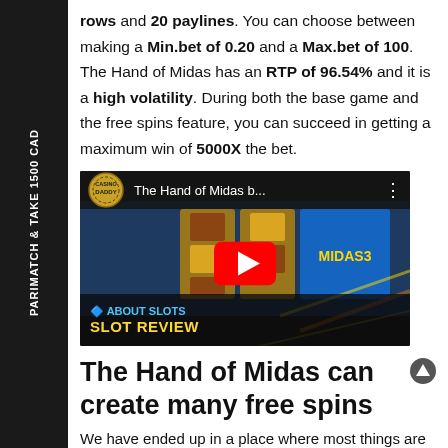PARIMATCH & TAKE 1500 CAD
rows and 20 paylines. You can choose between making a Min.bet of 0.20 and a Max.bet of 100. The Hand of Midas has an RTP of 96.54% and it is a high volatility. During both the base game and the free spins feature, you can succeed in getting a maximum win of 5000X the bet.
[Figure (screenshot): YouTube video thumbnail showing 'The Hand of Midas b...' with Casino Daddy logo, Midas slot imagery, play button, and 'About Slots Slot Review' text at the bottom.]
The Hand of Midas can create many free spins
We have ended up in a place where most things are